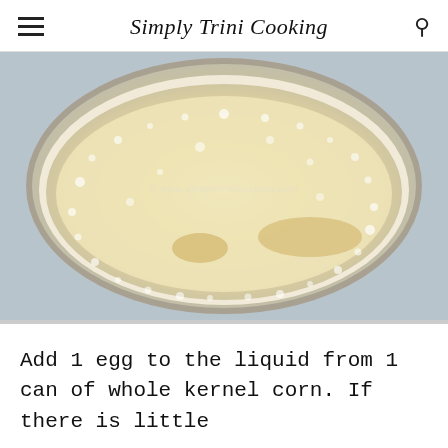Simply Trini Cooking
[Figure (photo): Top-down view of a white pan or bowl containing a pale yellow liquid with bubbles and some granular texture, likely corn liquid or batter being prepared. Watermark reads www.simplytrinicooking.com.]
Add 1 egg to the liquid from 1 can of whole kernel corn. If there is little